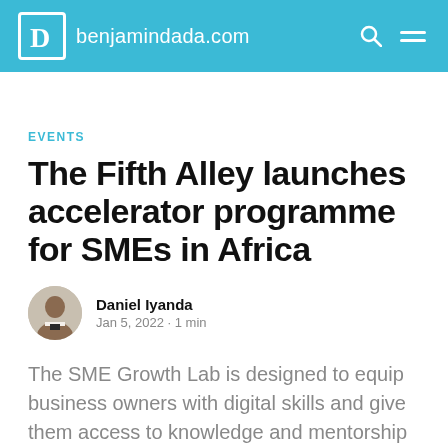benjamindada.com
EVENTS
The Fifth Alley launches accelerator programme for SMEs in Africa
Daniel Iyanda
Jan 5, 2022 · 1 min
The SME Growth Lab is designed to equip business owners with digital skills and give them access to knowledge and mentorship